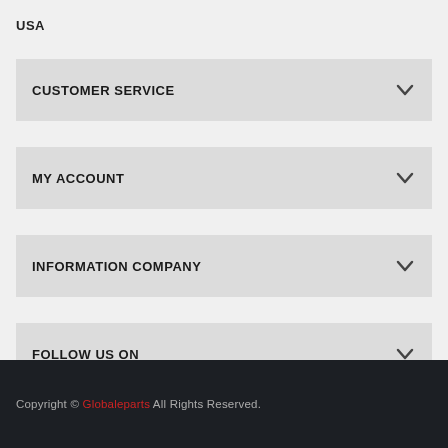USA
CUSTOMER SERVICE
MY ACCOUNT
INFORMATION COMPANY
FOLLOW US ON
Copyright © Globaleparts All Rights Reserved.